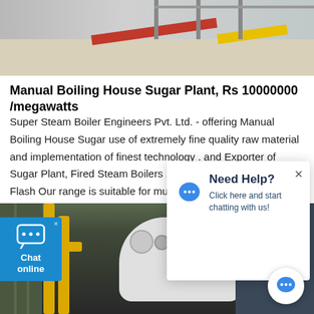[Figure (photo): Top view of an industrial floor/platform with red and yellow diagonal stripes, industrial railing visible]
Manual Boiling House Sugar Plant, Rs 10000000 /megawatts
Super Steam Boiler Engineers Pvt. Ltd. - offering Manual Boiling House Sugar use of extremely fine quality raw material and implementation of finest technology . and Exporter of Sugar Plant, Fired Steam Boilers , Industrial Heat Exchanger, Flash Our range is suitable for multiple fuel option like coal, husk, and wood .
[Figure (photo): Industrial boiler equipment with yellow pipes, white cylindrical boiler body, and dark control panel in a factory setting]
[Figure (screenshot): Need Help? popup overlay with blue chat bubble icon, text 'Click here and start chatting with us!' and close X button]
[Figure (infographic): Chat online button on left side in blue, with chat icon]
[Figure (infographic): Floating chat button circle in bottom right corner with chat bubble icon]